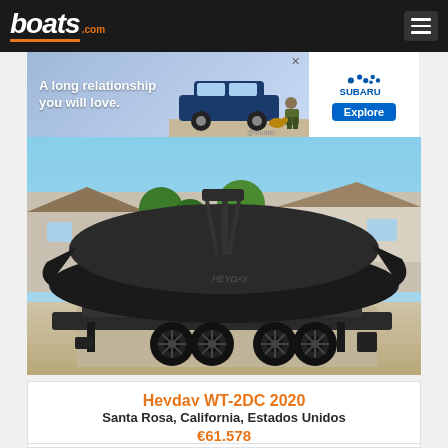boats.com
[Figure (photo): Subaru advertisement banner showing a Subaru SUV with text 'A long relationship you will love.' and an Explore button]
[Figure (photo): Photo of a black Heyday WT-2DC 2020 wake boat covered with a dark cover, sitting on a black trailer in a residential driveway under a clear blue sky]
Heyday WT-2DC 2020
Santa Rosa, California, Estados Unidos
€61.578